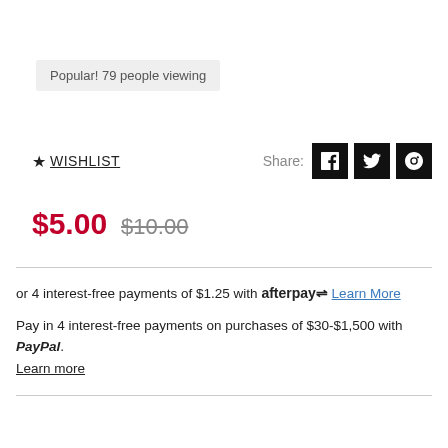Popular! 79 people viewing
★ WISHLIST
Share:
$5.00 $10.00
or 4 interest-free payments of $1.25 with afterpay Learn More
Pay in 4 interest-free payments on purchases of $30-$1,500 with PayPal. Learn more